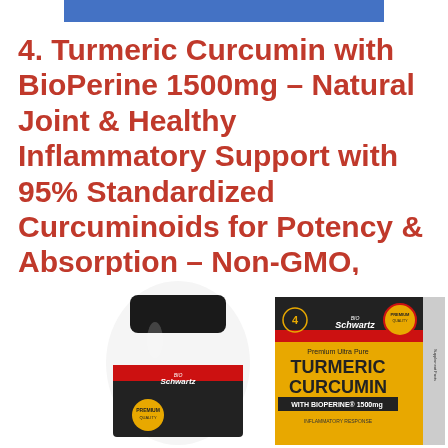[Figure (other): Blue horizontal bar at top center of page]
4. Turmeric Curcumin with BioPerine 1500mg – Natural Joint & Healthy Inflammatory Support with 95% Standardized Curcuminoids for Potency & Absorption – Non-GMO, Gluten Free Capsules with Black Pepper.
[Figure (photo): Product photo showing BIO Schwartz Premium Ultra Pure Turmeric Curcumin with BioPerine 1500mg supplement bottle and box side by side on white background]